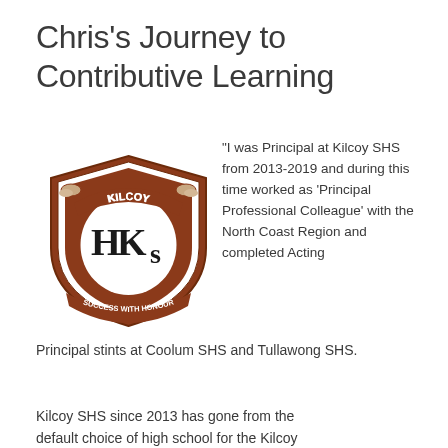Chris's Journey to Contributive Learning
[Figure (logo): Kilcoy State High School crest/logo featuring brown and white shield with HKS letters, banner reading 'KILCOY' at top, 'STATE HIGH SCHOOL' around middle, and 'SUCCESS WITH HONOUR' at bottom]
“I was Principal at Kilcoy SHS from 2013-2019 and during this time worked as ‘Principal Professional Colleague’ with the North Coast Region and completed Acting Principal stints at Coolum SHS and Tullawong SHS.
Kilcoy SHS since 2013 has gone from the default choice of high school for the Kilcoy